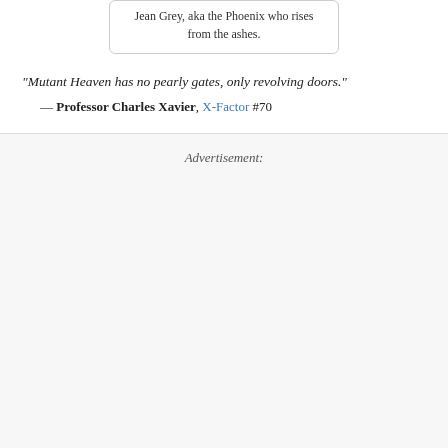Jean Grey, aka the Phoenix who rises from the ashes.
"Mutant Heaven has no pearly gates, only revolving doors."
— Professor Charles Xavier, X-Factor #70
Advertisement: